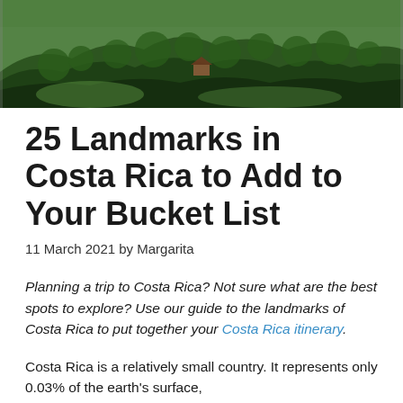[Figure (photo): Aerial or elevated view of lush green forested hillside in Costa Rica, with a small structure visible among the trees]
25 Landmarks in Costa Rica to Add to Your Bucket List
11 March 2021 by Margarita
Planning a trip to Costa Rica? Not sure what are the best spots to explore? Use our guide to the landmarks of Costa Rica to put together your Costa Rica itinerary.
Costa Rica is a relatively small country. It represents only 0.03% of the earth's surface,